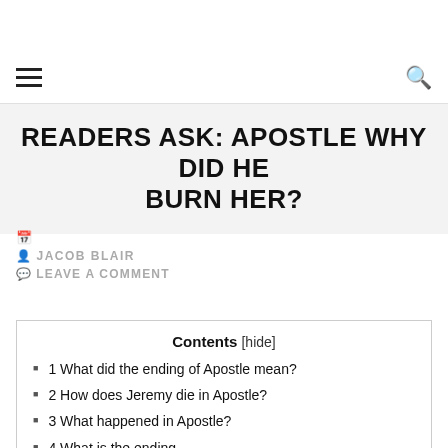READERS ASK: APOSTLE WHY DID HE BURN HER?
JACOB BLAIR
LEAVE A COMMENT
| Contents [hide] |
| --- |
| 1 What did the ending of Apostle mean? |
| 2 How does Jeremy die in Apostle? |
| 3 What happened in Apostle? |
| 4 What is the ending... |